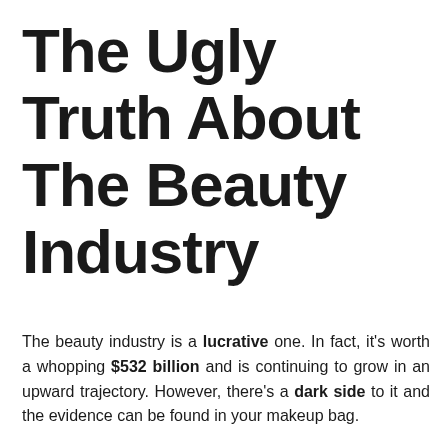The Ugly Truth About The Beauty Industry
The beauty industry is a lucrative one. In fact, it's worth a whopping $532 billion and is continuing to grow in an upward trajectory. However, there's a dark side to it and the evidence can be found in your makeup bag.